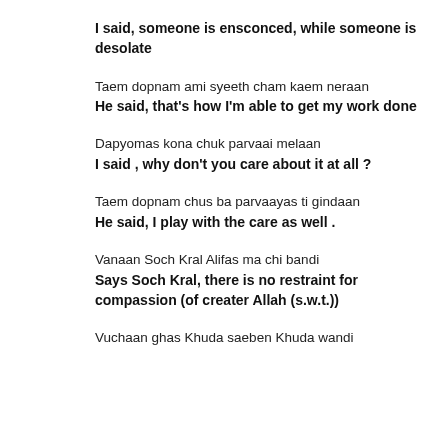I said, someone is ensconced, while someone is desolate
Taem dopnam ami syeeth cham kaem neraan
He said, that's how I'm able to get my work done
Dapyomas kona chuk parvaai melaan
I said , why don't you care about it at all ?
Taem dopnam chus ba parvaayas ti gindaan
He said, I play with the care as well .
Vanaan Soch Kral Alifas ma chi bandi
Says Soch Kral, there is no restraint for compassion (of creater Allah (s.w.t.))
Vuchaan ghas Khuda saeben Khuda wandi